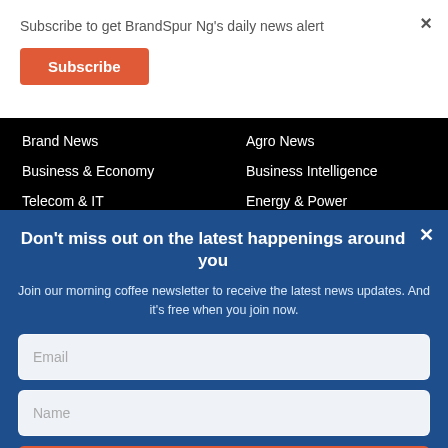Subscribe to get BrandSpur Ng's daily news alert
Subscribe
Brand News
Agro News
Business & Economy
Business Intelligence
Telecom & IT
Energy & Power
Don't miss out on the latest happenings around you
Join our morning coffee newsletter to receive the latest news updates. And it's free when you join now.
Email
Name
JOIN NOW